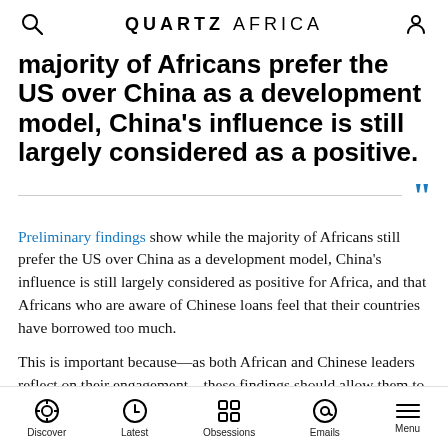QUARTZ AFRICA
majority of Africans prefer the US over China as a development model, China's influence is still largely considered as a positive.
Preliminary findings show while the majority of Africans still prefer the US over China as a development model, China's influence is still largely considered as positive for Africa, and that Africans who are aware of Chinese loans feel that their countries have borrowed too much.
This is important because—as both African and Chinese leaders reflect on their engagement—these findings should allow them to build a forward-looking
Discover | Latest | Obsessions | Emails | Menu